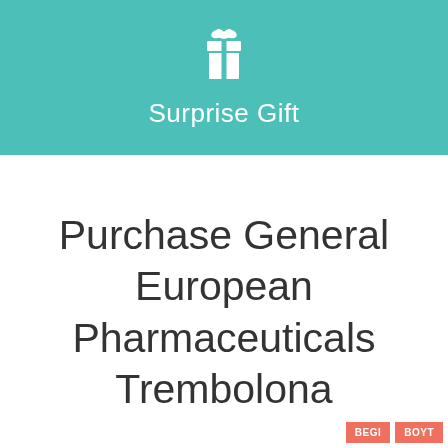[Figure (illustration): Teal/turquoise banner with white gift box icon and text 'Surprise Gift']
Purchase General European Pharmaceuticals Trembolona
BEGI... BOYT...